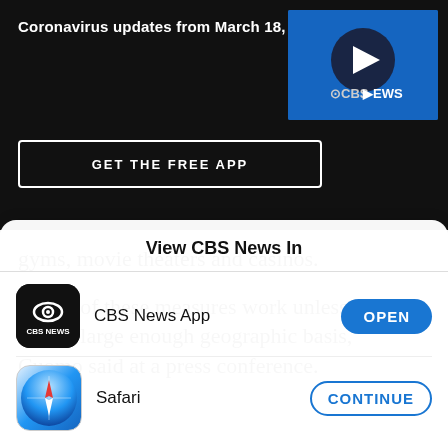Coronavirus updates from March 18, 2020
[Figure (screenshot): CBS News video thumbnail with play button on blue background and CBS News logo]
GET THE FREE APP
gyms, movie theaters and casinos.
"None of these measures work unless you have a large enough geographic basis," Cuomo said at a press conference.
View CBS News In
CBS News App
Safari